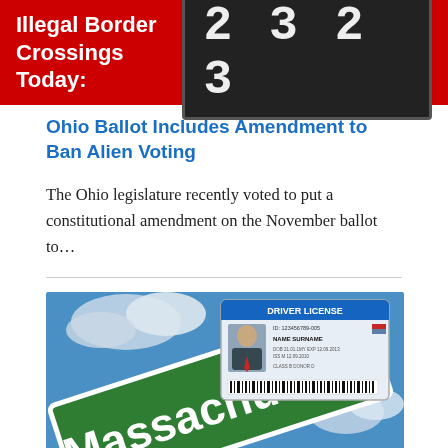Illegal Border Crossings Today: 2323
Ohio Ballot Includes Amendment to Ban Alien Voting
The Ohio legislature recently voted to put a constitutional amendment on the November ballot to...
[Figure (photo): Composite image showing a Massachusetts state road sign (green, white lettering) against a blue sky with clouds, overlaid with a sample Driver License card showing a generic ID photo, ID number 123456789-005, NAME SURNAME, and various license fields.]